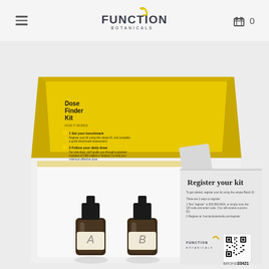Function Botanicals — navigation header with hamburger menu, logo, and cart icon (0 items)
[Figure (photo): Product photo of Function Botanicals Dose Finder Kit: an open yellow-lined box containing two small amber dropper bottles labeled A and B, with a folded registration card visible on the right showing 'Register your kit' text and a QR code with serial number 33421, placed on a light grey background.]